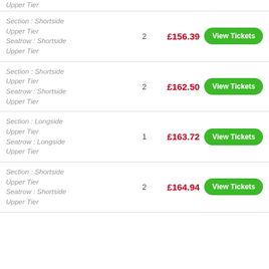Upper Tier
Section : Shortside Upper Tier
Seatrow : Shortside Upper Tier
2
£156.39
View Tickets
Section : Shortside Upper Tier
Seatrow : Shortside Upper Tier
2
£162.50
View Tickets
Section : Longside Upper Tier
Seatrow : Longside Upper Tier
1
£163.72
View Tickets
Section : Shortside Upper Tier
Seatrow : Shortside Upper Tier
2
£164.94
View Tickets